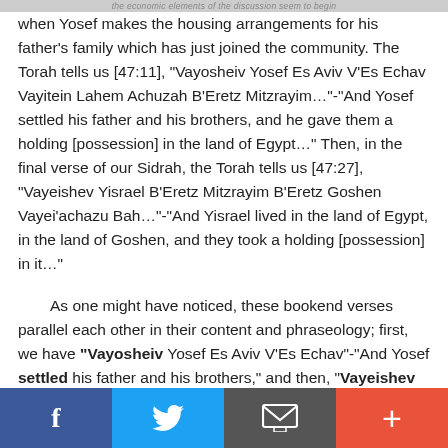the economic elements of the discussion seem to begin
when Yosef makes the housing arrangements for his father's family which has just joined the community. The Torah tells us [47:11], "Vayosheiv Yosef Es Aviv V'Es Echav Vayitein Lahem Achuzah B'Eretz Mitzrayim…"-"And Yosef settled his father and his brothers, and he gave them a holding [possession] in the land of Egypt…" Then, in the final verse of our Sidrah, the Torah tells us [47:27], "Vayeishev Yisrael B'Eretz Mitzrayim B'Eretz Goshen Vayei'achazu Bah…"-"And Yisrael lived in the land of Egypt, in the land of Goshen, and they took a holding [possession] in it…"
As one might have noticed, these bookend verses parallel each other in their content and phraseology; first, we have "Vayosheiv Yosef Es Aviv V'Es Echav"-"And Yosef settled his father and his brothers," and then, "Vayeishev Yisrael…"-"And Yisrael settled…" And again, first we have "Vayitein Lahem
Social sharing bar: Facebook, Twitter, Email, Plus